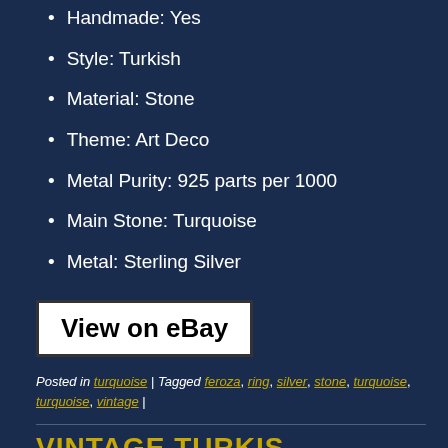Handmade: Yes
Style: Turkish
Material: Stone
Theme: Art Deco
Metal Purity: 925 parts per 1000
Main Stone: Turquoise
Metal: Sterling Silver
View on eBay
Posted in turquoise | Tagged feroza, ring, silver, stone, turquoise, turquoise, vintage |